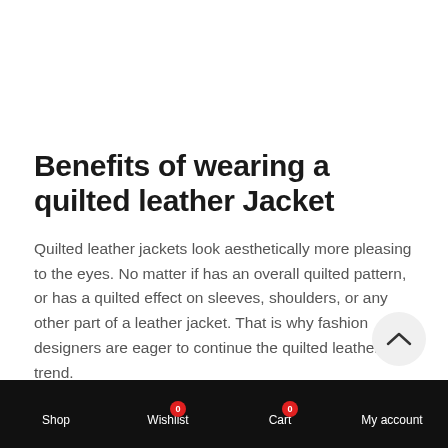Benefits of wearing a quilted leather Jacket
Quilted leather jackets look aesthetically more pleasing to the eyes. No matter if has an overall quilted pattern, or has a quilted effect on sleeves, shoulders, or any other part of a leather jacket. That is why fashion designers are eager to continue the quilted leather trend.
Being very lightweight makes the quilted leather jackets easy to
Shop  Wishlist 0  Cart 0  My account